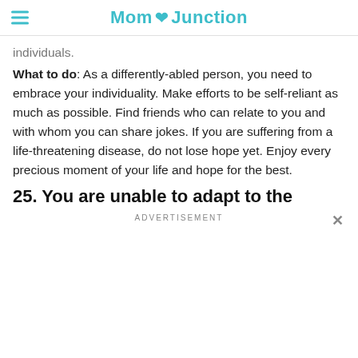Mom Junction
individuals.
What to do: As a differently-abled person, you need to embrace your individuality. Make efforts to be self-reliant as much as possible. Find friends who can relate to you and with whom you can share jokes. If you are suffering from a life-threatening disease, do not lose hope yet. Enjoy every precious moment of your life and hope for the best.
25. You are unable to adapt to the
ADVERTISEMENT